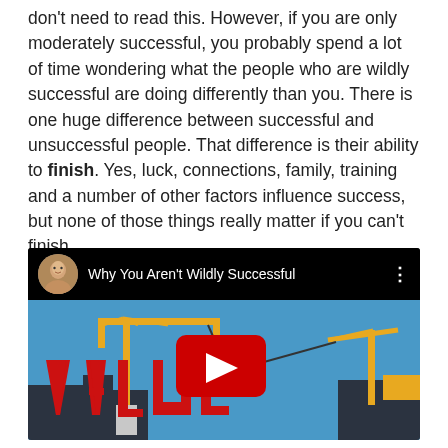don't need to read this. However, if you are only moderately successful, you probably spend a lot of time wondering what the people who are wildly successful are doing differently than you. There is one huge difference between successful and unsuccessful people. That difference is their ability to finish. Yes, luck, connections, family, training and a number of other factors influence success, but none of those things really matter if you can't finish.
[Figure (screenshot): YouTube video thumbnail titled 'Why You Aren't Wildly Successful' showing a construction scene with cranes, the word VALUE in large red letters, and a YouTube play button overlay. The video top bar shows a circular avatar photo of a man and a three-dot menu icon.]